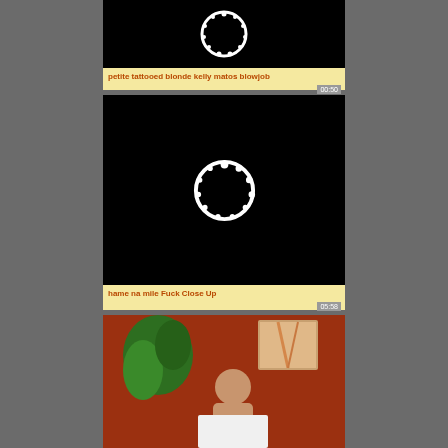[Figure (screenshot): Video thumbnail placeholder with black background and white circular loading spinner]
petite tattooed blonde kelly matos blowjob
00:50
[Figure (screenshot): Video thumbnail placeholder with black background and white circular loading spinner]
hame na mile Fuck Close Up
05:58
[Figure (photo): Video thumbnail showing a person in a red-walled room with a green plant and artwork on the wall]